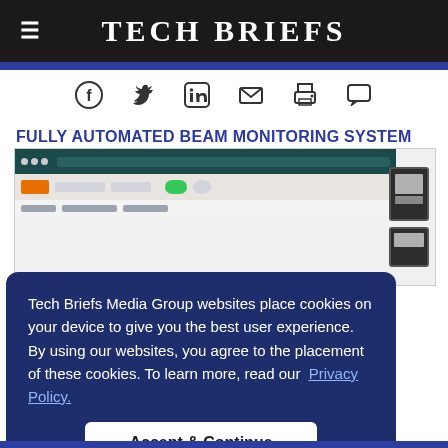Tech Briefs
[Figure (screenshot): Social sharing icons: Facebook, Twitter, LinkedIn, email, print, comment]
FULLY AUTOMATED BEAM MONITORING SYSTEM
[Figure (screenshot): Screenshot of beam monitoring system software interface with toolbar and device hardware on right side]
Tech Briefs Media Group websites place cookies on your device to give you the best user experience. By using our websites, you agree to the placement of these cookies. To learn more, read our Privacy Policy.
Accept & Continue